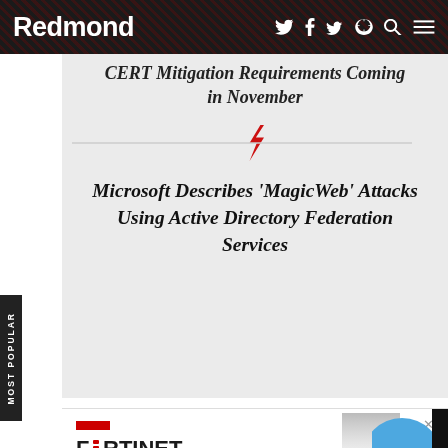Redmond
CERT Mitigation Requirements Coming in November
Microsoft Describes 'MagicWeb' Attacks Using Active Directory Federation Services
MOST POPULAR
[Figure (logo): Fortinet logo with red bar and close button]
Don’t Rely on a “Good Enough” Firewall. Learn to Secure Your Organization with Fortinet